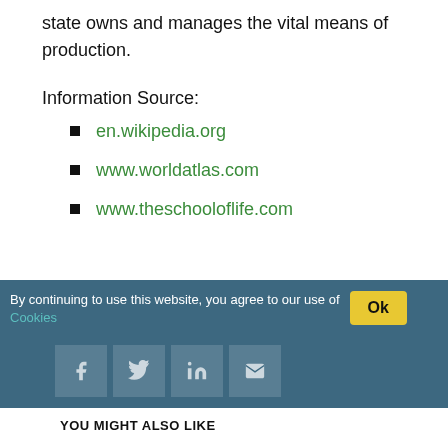state owns and manages the vital means of production.
Information Source:
en.wikipedia.org
www.worldatlas.com
www.theschooloflife.com
By continuing to use this website, you agree to our use of Cookies  Ok
YOU MIGHT ALSO LIKE